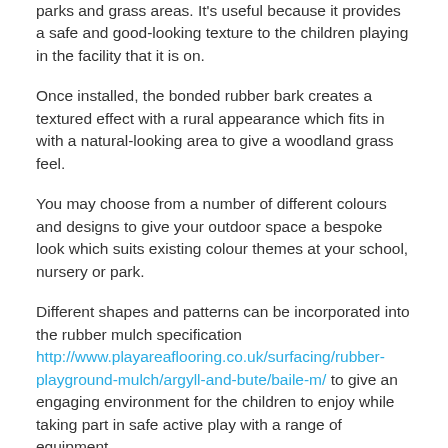parks and grass areas. It's useful because it provides a safe and good-looking texture to the children playing in the facility that it is on.
Once installed, the bonded rubber bark creates a textured effect with a rural appearance which fits in with a natural-looking area to give a woodland grass feel.
You may choose from a number of different colours and designs to give your outdoor space a bespoke look which suits existing colour themes at your school, nursery or park.
Different shapes and patterns can be incorporated into the rubber mulch specification http://www.playareaflooring.co.uk/surfacing/rubber-playground-mulch/argyll-and-bute/baile-m/ to give an engaging environment for the children to enjoy while taking part in safe active play with a range of equipment.
Our team of specialist rubber mulch installers have worked with numerous schools and nurseries near me to design versatile ...